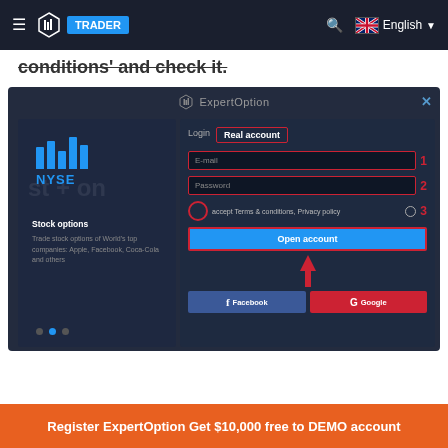[Figure (screenshot): ExpertOption trading platform screenshot showing a registration modal with Login/Real account tabs, E-mail field (labeled 1), Password field (labeled 2), Terms & conditions checkbox (labeled 3), Open account button with red arrow pointing up, and Facebook/Google sign-in buttons. Left panel shows NYSE stock options branding. Navigation bar shows TRADER logo with search and English language selector.]
conditions' and check it.
Register ExpertOption Get $10,000 free to DEMO account